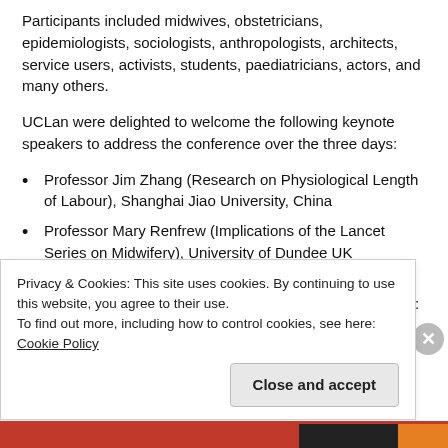Participants included midwives, obstetricians, epidemiologists, sociologists, anthropologists, architects, service users, activists, students, paediatricians, actors, and many others.
UCLan were delighted to welcome the following keynote speakers to address the conference over the three days:
Professor Jim Zhang (Research on Physiological Length of Labour), Shanghai Jiao University, China
Professor Mary Renfrew (Implications of the Lancet Series on Midwifery), University of Dundee UK
Professor Peter Brocklehurst (New Innovations in the Epidemiology and Consequences of Intrapartum Events: the UK Life study), Director
Privacy & Cookies: This site uses cookies. By continuing to use this website, you agree to their use.
To find out more, including how to control cookies, see here: Cookie Policy
Close and accept